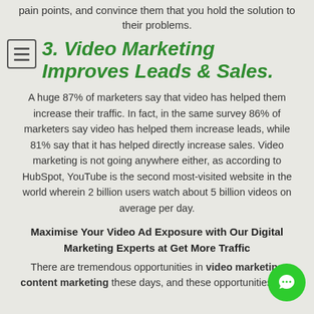pain points, and convince them that you hold the solution to their problems.
3. Video Marketing Improves Leads & Sales.
A huge 87% of marketers say that video has helped them increase their traffic. In fact, in the same survey 86% of marketers say video has helped them increase leads, while 81% say that it has helped directly increase sales. Video marketing is not going anywhere either, as according to HubSpot, YouTube is the second most-visited website in the world wherein 2 billion users watch about 5 billion videos on average per day.
Maximise Your Video Ad Exposure with Our Digital Marketing Experts at Get More Traffic
There are tremendous opportunities in video marketing content marketing these days, and these opportunities only